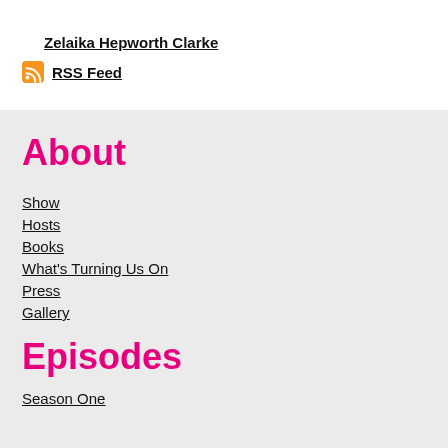Zelaika Hepworth Clarke
RSS Feed
About
Show
Hosts
Books
What's Turning Us On
Press
Gallery
Episodes
Season One